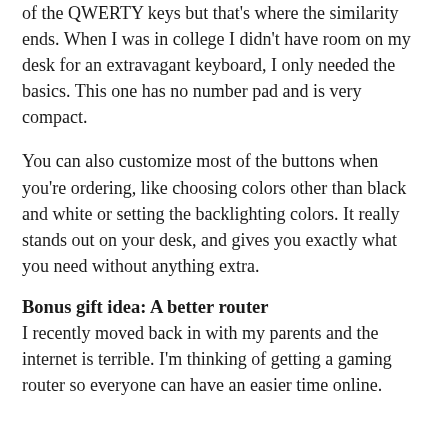of the QWERTY keys but that's where the similarity ends. When I was in college I didn't have room on my desk for an extravagant keyboard, I only needed the basics. This one has no number pad and is very compact.
You can also customize most of the buttons when you're ordering, like choosing colors other than black and white or setting the backlighting colors. It really stands out on your desk, and gives you exactly what you need without anything extra.
Bonus gift idea: A better router
I recently moved back in with my parents and the internet is terrible. I'm thinking of getting a gaming router so everyone can have an easier time online.